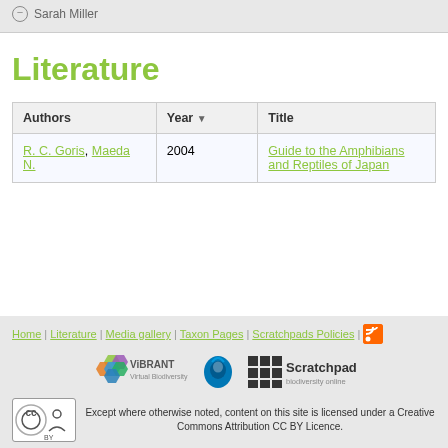Sarah Miller
Literature
| Authors | Year | Title |
| --- | --- | --- |
| R. C. Goris, Maeda N. | 2004 | Guide to the Amphibians and Reptiles of Japan |
Home | Literature | Media gallery | Taxon Pages | Scratchpads Policies | [RSS] ViBRANT Virtual Biodiversity [Drupal] Scratchpads biodiversity online  CC BY — Except where otherwise noted, content on this site is licensed under a Creative Commons Attribution CC BY Licence.